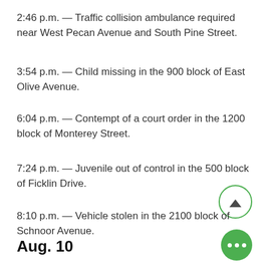2:46 p.m. — Traffic collision ambulance required near West Pecan Avenue and South Pine Street.
3:54 p.m. — Child missing in the 900 block of East Olive Avenue.
6:04 p.m. — Contempt of a court order in the 1200 block of Monterey Street.
7:24 p.m. — Juvenile out of control in the 500 block of Ficklin Drive.
8:10 p.m. — Vehicle stolen in the 2100 block of Schnoor Avenue.
Aug. 10